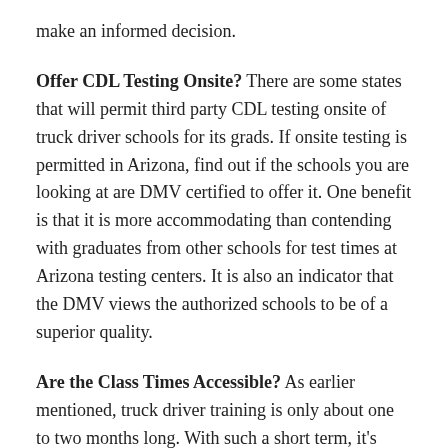make an informed decision.
Offer CDL Testing Onsite? There are some states that will permit third party CDL testing onsite of truck driver schools for its grads. If onsite testing is permitted in Arizona, find out if the schools you are looking at are DMV certified to offer it. One benefit is that it is more accommodating than contending with graduates from other schools for test times at Arizona testing centers. It is also an indicator that the DMV views the authorized schools to be of a superior quality.
Are the Class Times Accessible? As earlier mentioned, truck driver training is only about one to two months long. With such a short term, it's imperative that the Prescott Valley AZ school you select provides flexibility for both the curriculum and the scheduling of classes. As an example, if you're having difficulty learning a certain driving maneuver, then the instructor should be